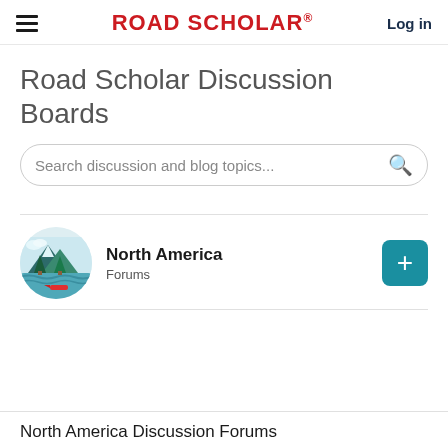Road Scholar  Log in
Road Scholar Discussion Boards
Search discussion and blog topics...
North America
Forums
North America Discussion Forums